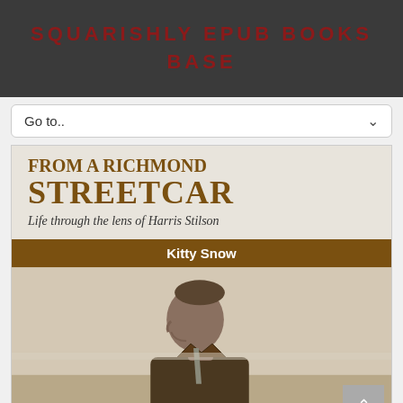SQUARISHLY EPUB BOOKS BASE
Go to..
[Figure (illustration): Book cover for 'From a Richmond Streetcar: Life through the lens of Harris Stilson' by Kitty Snow. Shows title text in brown serif font on a light background, followed by author name on a brown band, and a sepia-toned photograph of an older man in profile wearing a suit jacket.]